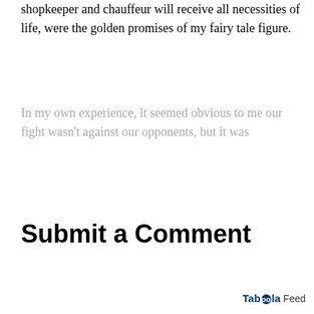shopkeeper and chauffeur will receive all necessities of life, were the golden promises of my fairy tale figure.
In my own experience, it seemed obvious to me our fight wasn't against our opponents, but it was
Read More
Submit a Comment
Taboola Feed